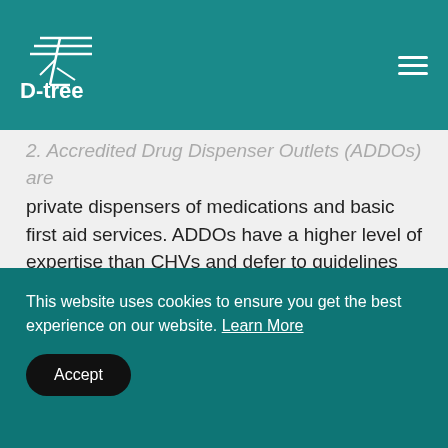D-tree
2. Accredited Drug Dispenser Outlets (ADDOs) are private dispensers of medications and basic first aid services. ADDOs have a higher level of expertise than CHVs and defer to guidelines provided by the Pharmacy Council when screening and treating patients. ADDOs are easily accessible in rural settings, making them the primary access point of healthcare for many people in these areas.
This website uses cookies to ensure you get the best experience on our website. Learn More
Accept